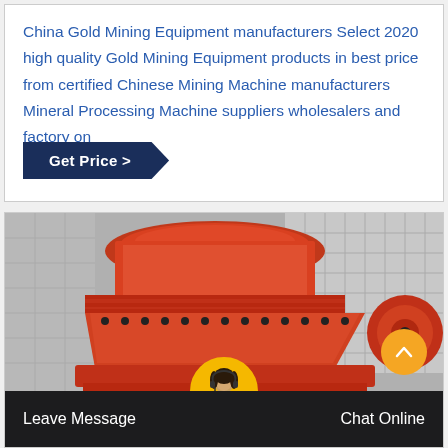China Gold Mining Equipment manufacturers Select 2020 high quality Gold Mining Equipment products in best price from certified Chinese Mining Machine manufacturers Mineral Processing Machine suppliers wholesalers and factory on
Get Price >
[Figure (photo): Large orange industrial cone crusher / mining equipment machine photographed outdoors. The machine is painted bright orange with black components and springs at the base.]
Leave Message
[Figure (photo): Circular avatar of a female customer service representative wearing a headset, set against a yellow/gold circular background.]
Chat Online